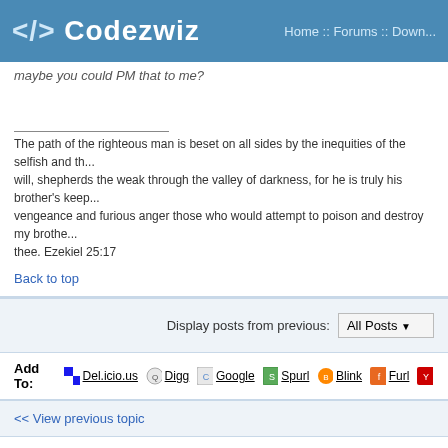</> Codezwiz   Home :: Forums :: Down...
maybe you could PM that to me?
The path of the righteous man is beset on all sides by the inequities of the selfish and th... will, shepherds the weak through the valley of darkness, for he is truly his brother's keep... vengeance and furious anger those who would attempt to poison and destroy my brothe... thee. Ezekiel 25:17
Back to top
Display posts from previous:  All Posts
Add To:  Del.icio.us  Digg  Google  Spurl  Blink  Furl  Y...
<< View previous topic